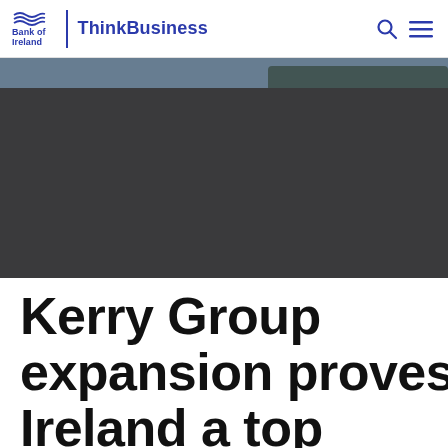Bank of Ireland | ThinkBusiness
[Figure (photo): Dark landscape hero image with a blue-grey sky and silhouette of trees at the top right corner]
Kerry Group expansion proves Ireland a top